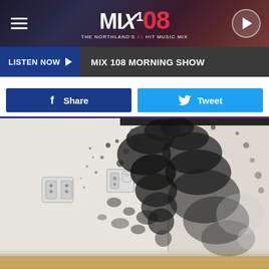MIX 108 THE NORTHLAND'S #1 HIT MUSIC MIX
LISTEN NOW ▶ MIX 108 MORNING SHOW
Share
Tweet
[Figure (photo): Room corner with extensive black mold growth on white walls, two electrical outlets visible on left wall, hardwood floor baseboard at bottom]